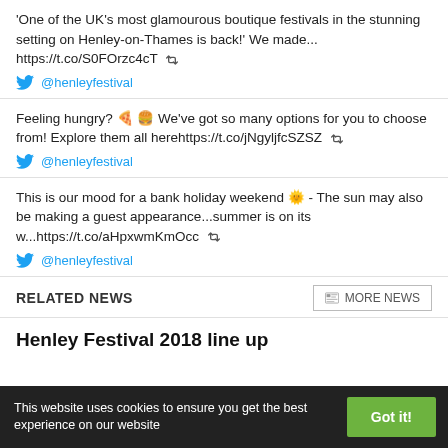'One of the UK's most glamourous boutique festivals in the stunning setting on Henley-on-Thames is back!' We made... https://t.co/S0FOrzc4cT 🔁
@henleyfestival
Feeling hungry? 🍕 🍔 We've got so many options for you to choose from! Explore them all herehttps://t.co/jNgyljfcSZSZ 🔁
@henleyfestival
This is our mood for a bank holiday weekend 🌞 - The sun may also be making a guest appearance...summer is on its w...https://t.co/aHpxwmKmOcc 🔁
@henleyfestival
RELATED NEWS
Henley Festival 2018 line up
This website uses cookies to ensure you get the best experience on our website